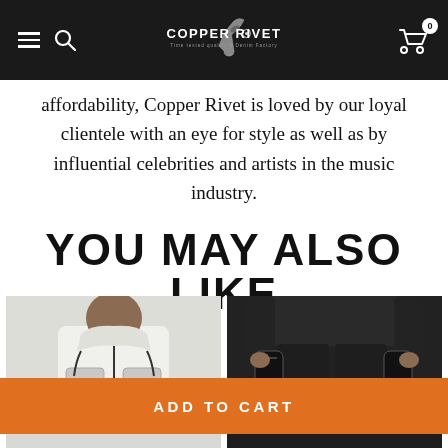Copper Rivet — Navigation bar with hamburger menu, search icon, logo, and cart (0)
affordability, Copper Rivet is loved by our loyal clientele with an eye for style as well as by influential celebrities and artists in the music industry.
YOU MAY ALSO LIKE
[Figure (photo): Photo of a person wearing a white/light grey zip-up utility hoodie jacket with multiple pockets and black trim details]
[Figure (photo): Photo of a person wearing black utility cargo pants with multiple pockets and straps]
ADD TO CART